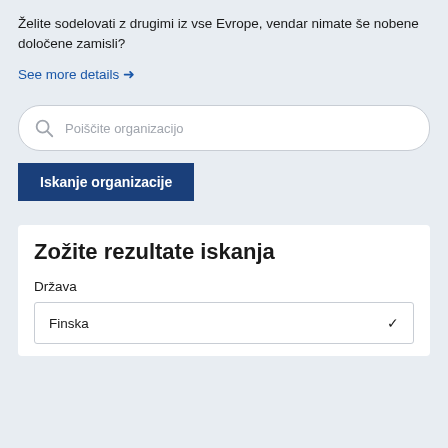Želite sodelovati z drugimi iz vse Evrope, vendar nimate še nobene določene zamisli?
See more details →
Poiščite organizacijo
Iskanje organizacije
Zožite rezultate iskanja
Država
Finska